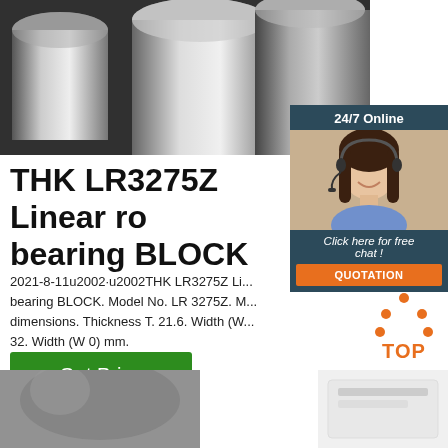[Figure (photo): Black and white photo of metal cylindrical rods/shafts stacked together]
[Figure (photo): 24/7 online customer service representative chat widget with woman wearing headset, and QUOTATION button]
THK LR3275Z Linear roller bearing BLOCK
2021-8-11u2002·u2002THK LR3275Z Linear roller bearing BLOCK. Model No. LR 3275Z. M... dimensions. Thickness T. 21.6. Width (W... 32. Width (W 0) mm.
[Figure (other): Get Price green button]
[Figure (other): TOP back-to-top orange icon with dots forming a house/arrow shape]
[Figure (photo): Partial product photo bottom left - grey cylindrical object]
[Figure (photo): Partial product photo bottom right - light colored packaging/product]